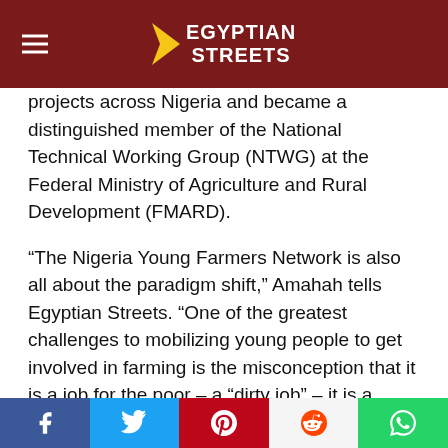Egyptian Streets
projects across Nigeria and became a distinguished member of the National Technical Working Group (NTWG) at the Federal Ministry of Agriculture and Rural Development (FMARD).
“The Nigeria Young Farmers Network is also all about the paradigm shift,” Amahah tells Egyptian Streets. “One of the greatest challenges to mobilizing young people to get involved in farming is the misconception that it is a job for the poor – a “dirty job” – it is a stereotype that has metamorphosed into a stigma. But with the innovations we bring into agriculture, from mechanized farming, farmer-to-businesses connection, and general moral support
f  t  p  reddit  whatsapp